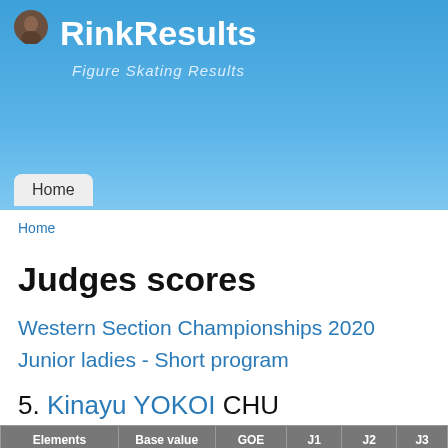RinkResults — Figure Skating Results
Home
Home
Judges scores
Western Section Championships 2020
Junior ladies - Short program
5. Kinayu YOKOI  CHU
| Elements | Base value | GOE | J1 | J2 | J3 |
| --- | --- | --- | --- | --- | --- |